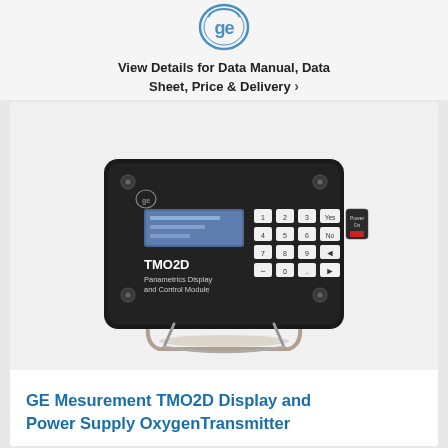[Figure (logo): GE logo — circular design with stylized 'ge' monogram in blue]
View Details for Data Manual, Data Sheet, Price & Delivery ›
[Figure (photo): Photo of GE Panametrics TMO2D Display and Control Module — a black rectangular instrument panel with a numeric keypad (1-9, 0, Yes, No, backspace, arrow keys), a blue LCD display screen, GE logo, and a metal stand/bracket at the bottom. The panel label reads: TMO2D Panametrics Display and Control Module.]
GE Mesurement TMO2D Display and Power Supply OxygenTransmitter